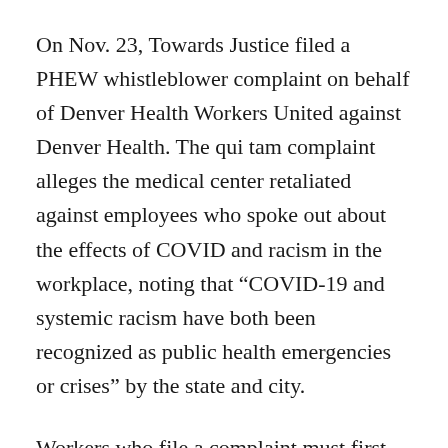On Nov. 23, Towards Justice filed a PHEW whistleblower complaint on behalf of Denver Health Workers United against Denver Health. The qui tam complaint alleges the medical center retaliated against employees who spoke out about the effects of COVID and racism in the workplace, noting that “COVID-19 and systemic racism have both been recognized as public health emergencies or crises” by the state and city.
Workers who file a complaint must first exhaust administrative remedies through the Division of Labor Standards and Statistics before bringing an action to court, and attorneys say they’re not aware of any claims that have made it past the